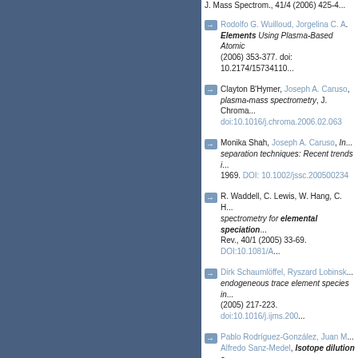Rodolfo G. Wuilloud, Jorgelina C. A. ... Elements Using Plasma-Based Atomic ... (2006) 353-377. doi: 10.2174/15734110...
Clayton B'Hymer, Joseph A. Caruso ... plasma-mass spectrometry, J. Chroma... doi:10.1016/j.chroma.2006.02.063
Monika Shah, Joseph A. Caruso, In... separation techniques: Recent trends i... 1969. DOI: 10.1002/jssc.200500234
R. Waddell, C. Lewis, W. Hang, C. H... spectrometry for elemental speciation... Rev., 40/1 (2005) 33-69. DOI:10.1081/A...
Dirk Schaumlöffel, Ryszard Lobinsk... endogeneous trace element species in... (2005) 217-223. doi:10.1016/j.ijms.200...
Pablo Rodríguez-González, Juan M... Alfredo Sanz-Medel, Isotope dilution a... Spectrochim. Acta, Part B, 60/2 (2005)...
A. Hagege, T. Baldinger, M. Martin-J... Assessmenmt of the contribution of ind... metalloprotein analysis: A novel appr... Commun. Mass Spectrom., 18/6 (2004)...
Francesco Cubadda, Inductively co... elements and elemental species in fo... doi: 10.1093/jaoac/87.1.173
Juris Meija, Sandra Mounicou, Jose...